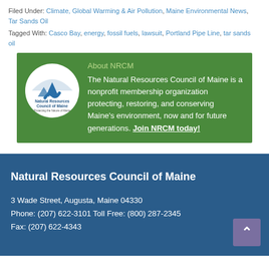Filed Under: Climate, Global Warming & Air Pollution, Maine Environmental News, Tar Sands Oil
Tagged With: Casco Bay, energy, fossil fuels, lawsuit, Portland Pipe Line, tar sands oil
[Figure (logo): Natural Resources Council of Maine circular logo with mountain and water design]
About NRCM
The Natural Resources Council of Maine is a nonprofit membership organization protecting, restoring, and conserving Maine's environment, now and for future generations. Join NRCM today!
Natural Resources Council of Maine
3 Wade Street, Augusta, Maine 04330
Phone: (207) 622-3101 Toll Free: (800) 287-2345
Fax: (207) 622-4343